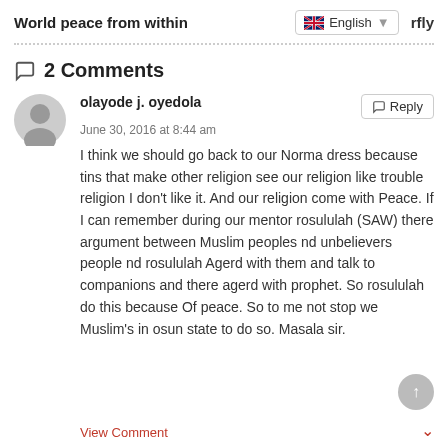World peace from within | English | rfly
2 Comments
olayode j. oyedola
June 30, 2016 at 8:44 am
I think we should go back to our Norma dress because tins that make other religion see our religion like trouble religion I don't like it. And our religion come with Peace. If I can remember during our mentor rosululah (SAW) there argument between Muslim peoples nd unbelievers people nd rosululah Agerd with them and talk to companions and there agerd with prophet. So rosululah do this because Of peace. So to me not stop we Muslim's in osun state to do so. Masala sir.
View Comment